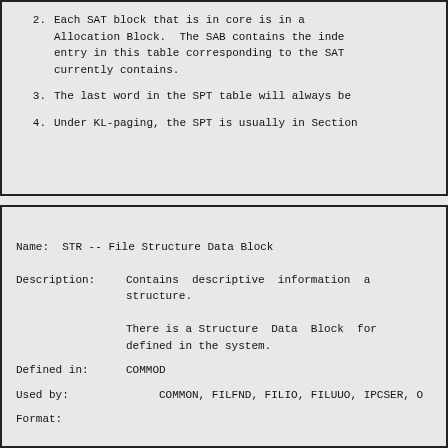2.  Each SAT block that is in core is in a Allocation Block.  The SAB contains the inde entry in this table corresponding to the SAT currently contains.
3.  The last word in the SPT table will always be
4.  Under KL-paging, the SPT is usually in Section
Name:  STR -- File Structure Data Block
Description:  Contains descriptive information a structure.

There is a Structure Data Block for defined in the system.
Defined in:  COMMOD
Used by:  COMMON, FILFND, FILIO, FILUUO, IPCSER, O
Format: